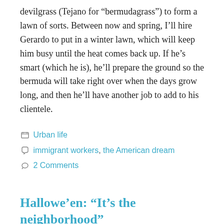devilgrass (Tejano for “bermudagrass”) to form a lawn of sorts. Between now and spring, I’ll hire Gerardo to put in a winter lawn, which will keep him busy until the heat comes back up. If he’s smart (which he is), he’ll prepare the ground so the bermuda will take right over when the days grow long, and then he’ll have another job to add to his clientele.
Categories: Urban life
Tags: immigrant workers, the American dream
2 Comments
Hallowe’en: “It’s the neighborhood”
November 1, 2008 by funny
Some time back, shortly before the real estate bubble